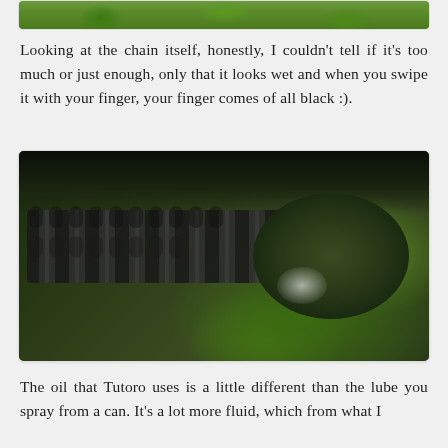[Figure (photo): Partial view of green leaves/foliage at the top of the page, cropped]
Looking at the chain itself, honestly, I couldn't tell if it's too much or just enough, only that it looks wet and when you swipe it with your finger, your finger comes of all black :).
[Figure (photo): Close-up photograph of a motorcycle or bicycle chain wrapped around a sprocket/gear, with green foliage visible in the background. The chain appears well-lubricated and dark/black in color.]
The oil that Tutoro uses is a little different than the lube you spray from a can. It's a lot more fluid, which from what I